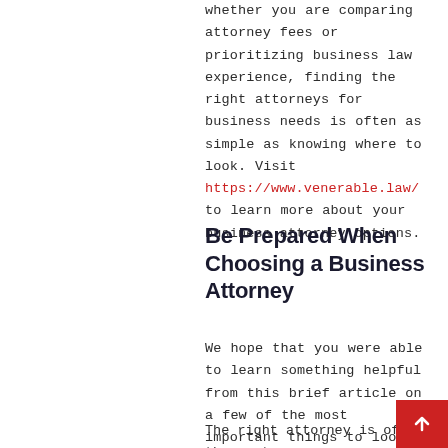whether you are comparing attorney fees or prioritizing business law experience, finding the right attorneys for business needs is often as simple as knowing where to look. Visit https://www.venerable.law/ to learn more about your business attorney options.
Be Prepared When Choosing a Business Attorney
We hope that you were able to learn something helpful from this brief article on a few of the most important things to look for when you are choosing a business attorney.
The right attorney is often the most important factor in building a better...